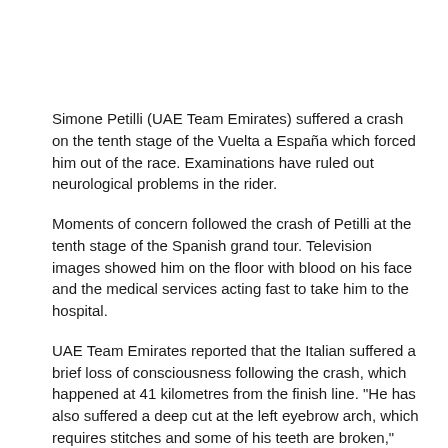Simone Petilli (UAE Team Emirates) suffered a crash on the tenth stage of the Vuelta a España which forced him out of the race. Examinations have ruled out neurological problems in the rider.
Moments of concern followed the crash of Petilli at the tenth stage of the Spanish grand tour. Television images showed him on the floor with blood on his face and the medical services acting fast to take him to the hospital.
UAE Team Emirates reported that the Italian suffered a brief loss of consciousness following the crash, which happened at 41 kilometres from the finish line. "He has also suffered a deep cut at the left eyebrow arch, which requires stitches and some of his teeth are broken," said the team in a press note.
"He's now in Zamora Hospital in a stable condition. He is able to interact with team's doctor Michele De Grandi and the CAT scan has excluded neurological problems."